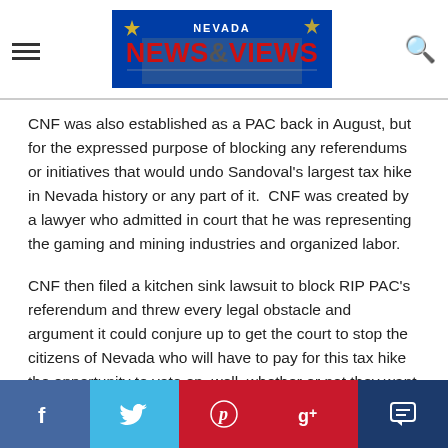Nevada News & Views
CNF was also established as a PAC back in August, but for the expressed purpose of blocking any referendums or initiatives that would undo Sandoval’s largest tax hike in Nevada history or any part of it.  CNF was created by a lawyer who admitted in court that he was representing the gaming and mining industries and organized labor.
CNF then filed a kitchen sink lawsuit to block RIP PAC’s referendum and threw every legal obstacle and argument it could conjure up to get the court to stop the citizens of Nevada who will have to pay for this tax hike the opportunity to vote on, well, whether or not they want to pay for this tax hike.
[Figure (infographic): Social media sharing bar with Facebook, Twitter, Pinterest, Google+, and comment icons]